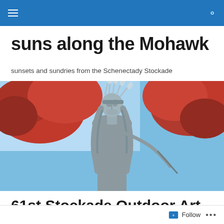suns along the Mohawk — navigation bar
suns along the Mohawk
sunsets and sundries from the Schenectady Stockade
[Figure (photo): Close-up of a bronze Native American statue wearing a feathered headdress, photographed against a blue sky and red autumn foliage trees.]
61st Stockade Outdoor Art Show a breezy success